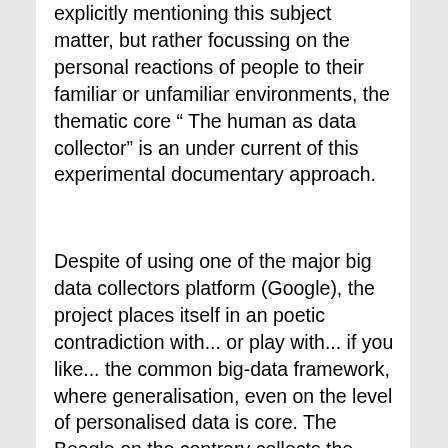explicitly mentioning this subject matter, but rather focussing on the personal reactions of people to their familiar or unfamiliar environments, the thematic core “ The human as data collector” is an under current of this experimental documentary approach.
Despite of using one of the major big data collectors platform (Google), the project places itself in an poetic contradiction with... or play with... if you like... the common big-data framework, where generalisation, even on the level of personalised data is core. The Beagle on the contrary collects the participant’s spoken reactions to the city, in a very aware and poetically constructed and media specific manner; triggered by a set of